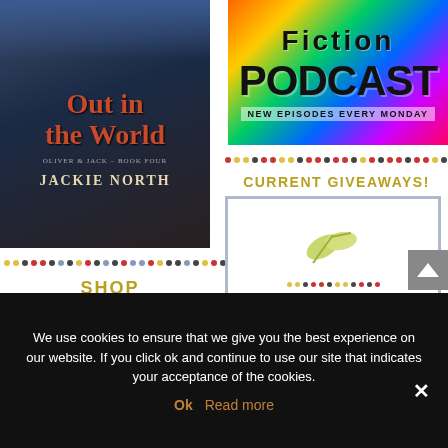[Figure (illustration): Book cover for 'Out in the World' by Jackie North, Oliver & Jack Book Four series. Dark blue cover with man in formal wear, red ornate title text.]
[Figure (illustration): Fiction Podcast banner with colorful sunburst background. Text reads: Fiction PODCAST New Episodes Every Monday]
[Figure (illustration): Decorative colored dot divider row on right side]
CURRENT GIVEAWAYS!
[Figure (illustration): Giveaway promotional image with leaf graphic and GIVEAWAY! text, colored dot rows above and below]
[Figure (illustration): Decorative colored dot divider row on left side]
SHOP
If you are shopping, check out
We use cookies to ensure that we give you the best experience on our website. If you click ok and continue to use our site that indicates your acceptance of the cookies.
Ok   Read more